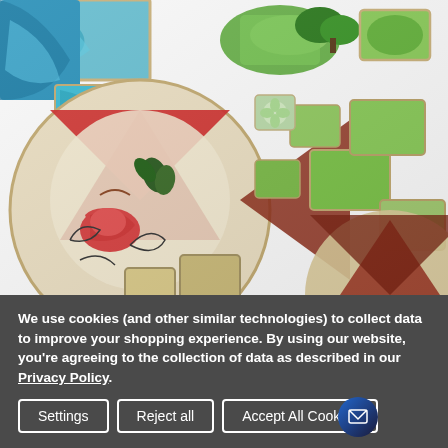[Figure (photo): Overhead photo of scattered jigsaw puzzle pieces on a white surface. Pieces show colorful artwork including green landscape/nature scenes, a decorative circular mandala-style design with red triangles and folk art birds, and other illustrated puzzle imagery.]
We use cookies (and other similar technologies) to collect data to improve your shopping experience. By using our website, you're agreeing to the collection of data as described in our Privacy Policy.
Settings
Reject all
Accept All Cookies